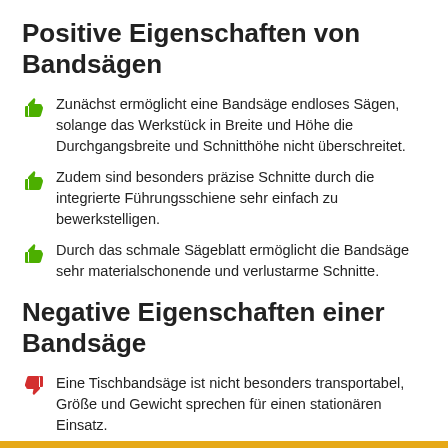Positive Eigenschaften von Bandsägen
Zunächst ermöglicht eine Bandsäge endloses Sägen, solange das Werkstück in Breite und Höhe die Durchgangsbreite und Schnitthöhe nicht überschreitet.
Zudem sind besonders präzise Schnitte durch die integrierte Führungsschiene sehr einfach zu bewerkstelligen.
Durch das schmale Sägeblatt ermöglicht die Bandsäge sehr materialschonende und verlustarme Schnitte.
Negative Eigenschaften einer Bandsäge
Eine Tischbandsäge ist nicht besonders transportabel, Größe und Gewicht sprechen für einen stationären Einsatz.
Der Umgang mit einer Bandsäge erfordert auch etwas Erfahrung; so muss zum Beispiel ein neues Bandsägeblatt erst eingefahren werden, um Unregelmäßigkeiten zu beseitigen und ein präzises